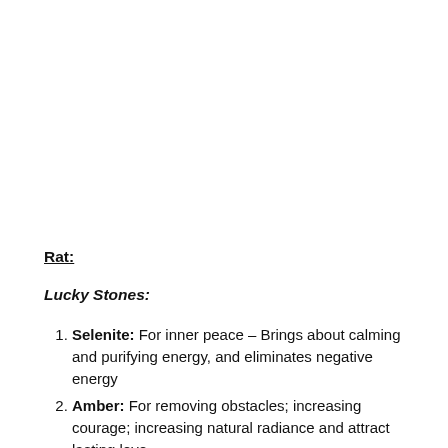Rat:
Lucky Stones:
Selenite: For inner peace – Brings about calming and purifying energy, and eliminates negative energy
Amber: For removing obstacles; increasing courage; increasing natural radiance and attract lasting love
Chakra Healing Crystals: Solar Plexus (Yellow)